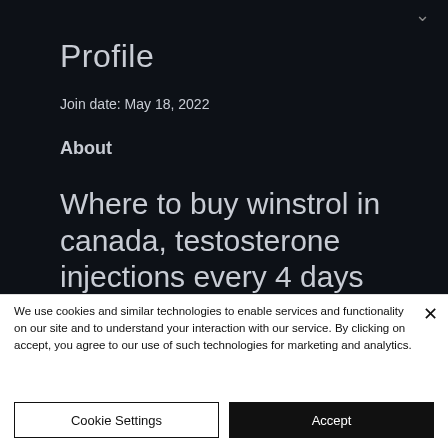Profile
Join date: May 18, 2022
About
Where to buy winstrol in canada, testosterone injections every 4 days
We use cookies and similar technologies to enable services and functionality on our site and to understand your interaction with our service. By clicking on accept, you agree to our use of such technologies for marketing and analytics.